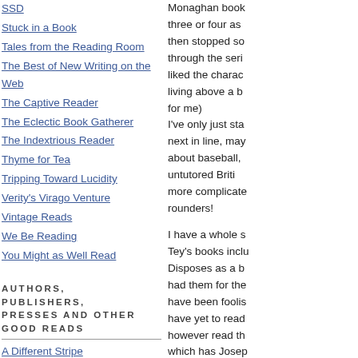SSD
Stuck in a Book
Tales from the Reading Room
The Best of New Writing on the Web
The Captive Reader
The Eclectic Book Gatherer
The Indextrious Reader
Thyme for Tea
Tripping Toward Lucidity
Verity's Virago Venture
Vintage Reads
We Be Reading
You Might as Well Read
AUTHORS, PUBLISHERS, PRESSES AND OTHER GOOD READS
A Different Stripe
Bloggers!
Monaghan book three or four as then stopped so through the seri liked the charac living above a b for me)
I've only just sta next in line, may about baseball, untutored Briti more complicate rounders!

I have a whole s Tey's books inclu Disposes as a b had them for the have been foolis have yet to read however read th which has Josep character acting found them very